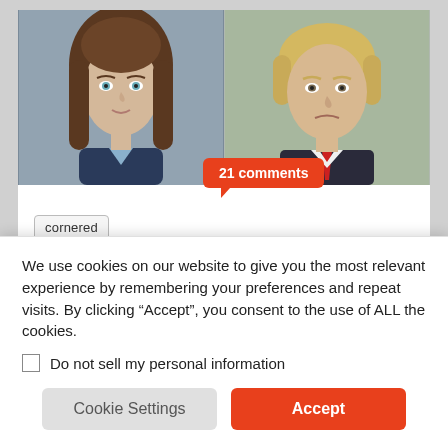[Figure (photo): Two side-by-side portrait photos: on the left, a woman with long brown hair and light eyes against a grey background; on the right, a man with blonde hair wearing a suit and red tie against a blurred outdoor background.]
21 comments
cornered
Mary Trump predicts uncle Donald Trump's next move as his downfall accelerates
We use cookies on our website to give you the most relevant experience by remembering your preferences and repeat visits. By clicking “Accept”, you consent to the use of ALL the cookies.
Do not sell my personal information
Cookie Settings
Accept